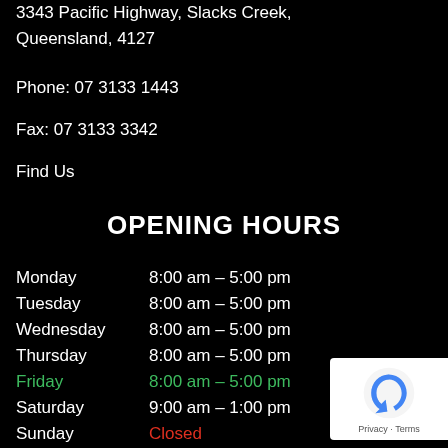3343 Pacific Highway, Slacks Creek, Queensland, 4127
Phone: 07 3133 1443
Fax: 07 3133 3342
Find Us
OPENING HOURS
| Day | Hours |
| --- | --- |
| Monday | 8:00 am – 5:00 pm |
| Tuesday | 8:00 am – 5:00 pm |
| Wednesday | 8:00 am – 5:00 pm |
| Thursday | 8:00 am – 5:00 pm |
| Friday | 8:00 am – 5:00 pm |
| Saturday | 9:00 am – 1:00 pm |
| Sunday | Closed |
[Figure (logo): reCAPTCHA badge with Privacy and Terms links]